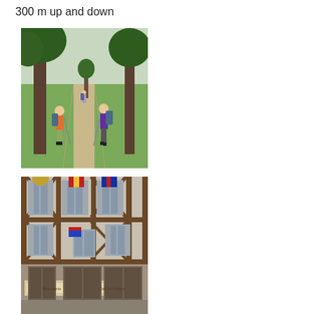300 m up and down
[Figure (photo): Two hikers with backpacks and trekking poles standing on a gravel dirt path lined with large green trees, open fields visible on either side.]
[Figure (photo): Old half-timbered building with grey shutters and wooden beams, flags hanging from the facade, and a Brasserie/cafe at street level.]